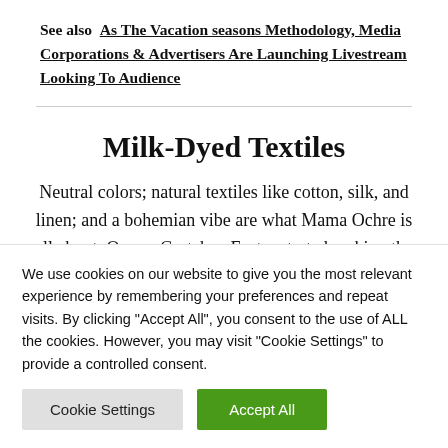See also  As The Vacation seasons Methodology, Media Corporations & Advertisers Are Launching Livestream Looking To Audience
Milk-Dyed Textiles
Neutral colors; natural textiles like cotton, silk, and linen; and a bohemian vibe are what Mama Ochre is all about. Owner Gretchen Foster started making the
We use cookies on our website to give you the most relevant experience by remembering your preferences and repeat visits. By clicking "Accept All", you consent to the use of ALL the cookies. However, you may visit "Cookie Settings" to provide a controlled consent.